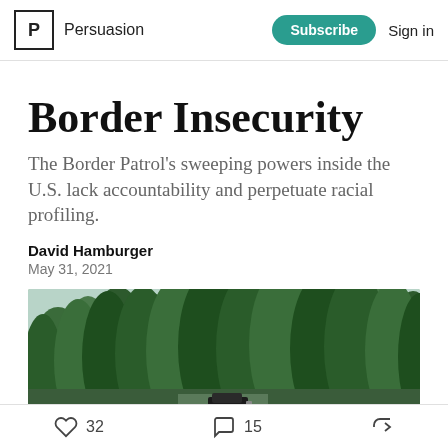Persuasion | Subscribe | Sign in
Border Insecurity
The Border Patrol's sweeping powers inside the U.S. lack accountability and perpetuate racial profiling.
David Hamburger
May 31, 2021
[Figure (photo): Photograph of a dense green forest with tall trees, taken in a rural outdoor setting near a border area. A vehicle is partially visible at the bottom center.]
32 likes | 15 comments | share